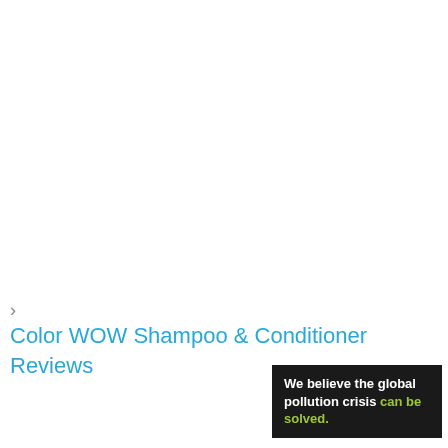› Color WOW Shampoo & Conditioner Reviews
[Figure (other): Advertisement banner with black background. Text reads: 'We believe the global pollution crisis can be solved.' with 'can be solved.' in green.]